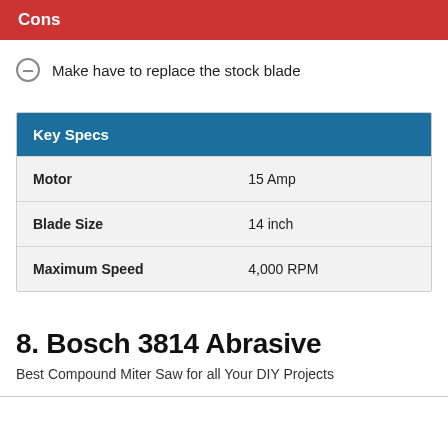Cons
Make have to replace the stock blade
| Key Specs |  |
| --- | --- |
| Motor | 15 Amp |
| Blade Size | 14 inch |
| Maximum Speed | 4,000 RPM |
8. Bosch 3814 Abrasive
Best Compound Miter Saw for all Your DIY Projects